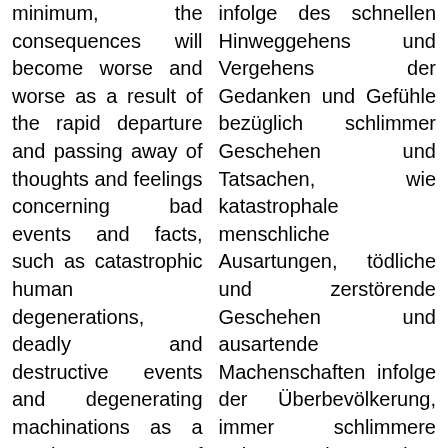minimum, the consequences will become worse and worse as a result of the rapid departure and passing away of thoughts and feelings concerning bad events and facts, such as catastrophic human degenerations, deadly and destructive events and degenerating machinations as a result of overpopulation.
238. And the inexorably increasing overpopulation will lead to malignant, dramatic
infolge des schnellen Hinweggehens und Vergehens der Gedanken und Gefühle bezüglich schlimmer Geschehen und Tatsachen, wie katastrophale menschliche Ausartungen, tödliche und zerstörende Geschehen und ausartende Machenschaften infolge der Überbevölkerung, immer schlimmere Folgen ergeben werden.
238. Und durch die unaufhaltsam steigende Überbevölkerung werden sich künftighin bösartige